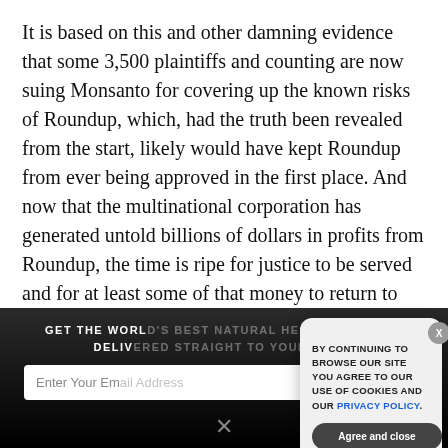It is based on this and other damning evidence that some 3,500 plaintiffs and counting are now suing Monsanto for covering up the known risks of Roundup, which, had the truth been revealed from the start, likely would have kept Roundup from ever being approved in the first place. And now that the multinational corporation has generated untold billions of dollars in profits from Roundup, the time is ripe for justice to be served and for at least some of that money to return to those who have been injured by exposure to this
GET THE WORLD'S BEST NATURAL HEALTH NEWSLETTER DELIVERED STRAIGHT TO YOUR INBOX
Enter Your Email Address
SUBSCRIBE
BY CONTINUING TO BROWSE OUR SITE YOU AGREE TO OUR USE OF COOKIES AND OUR PRIVACY POLICY.
Agree and close